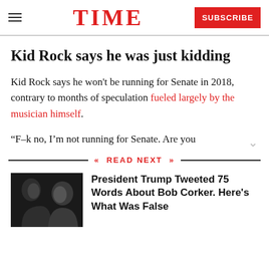TIME — SUBSCRIBE
Kid Rock says he was just kidding
Kid Rock says he won't be running for Senate in 2018, contrary to months of speculation fueled largely by the musician himself.
“F–k no, I’m not running for Senate. Are you
READ NEXT
[Figure (photo): Photo of two men in silhouette/profile, dark background]
President Trump Tweeted 75 Words About Bob Corker. Here's What Was False